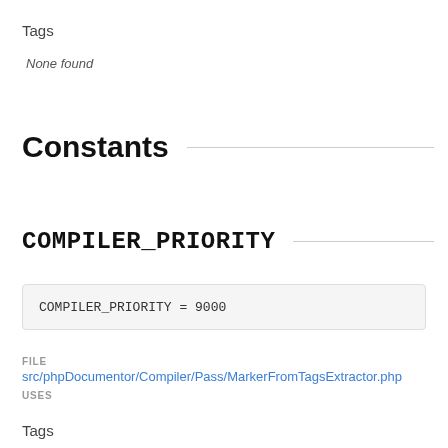Tags
None found
Constants
COMPILER_PRIORITY
COMPILER_PRIORITY = 9000
FILE
src/phpDocumentor/Compiler/Pass/MarkerFromTagsExtractor.php
USES
Tags